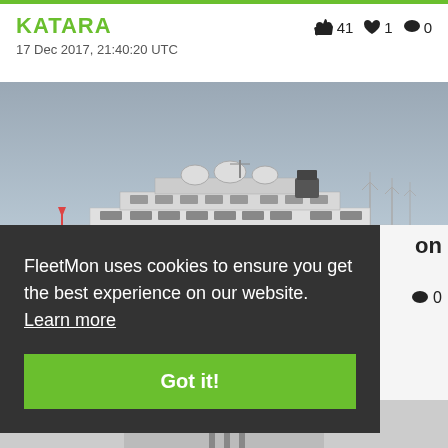KATARA
17 Dec 2017, 21:40:20 UTC
👍 41  ♥ 1  💬 0
[Figure (photo): Large white luxury superyacht sailing on calm water with overcast sky and wind turbines in background]
FleetMon uses cookies to ensure you get the best experience on our website. Learn more
Got it!
on
💬 0